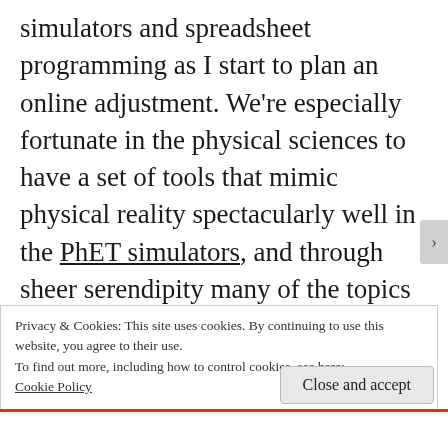simulators and spreadsheet programming as I start to plan an online adjustment. We're especially fortunate in the physical sciences to have a set of tools that mimic physical reality spectacularly well in the PhET simulators, and through sheer serendipity many of the topics that PhET does best – electric circuits, oscillations and waves, concentration and spectroscopy – just so happen to be the topics that I'm facing in my freshman- and sophomore-level courses right now.
Privacy & Cookies: This site uses cookies. By continuing to use this website, you agree to their use.
To find out more, including how to control cookies, see here: Cookie Policy